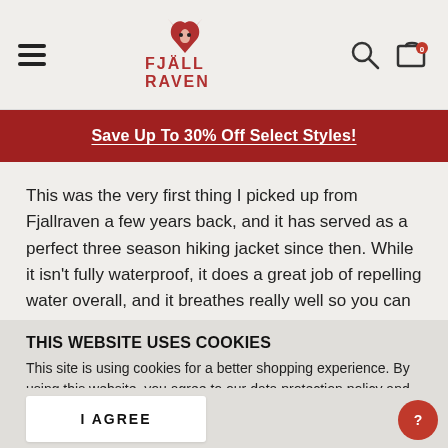[Figure (logo): Fjällräven logo with fox head icon and text FJALL RAVEN]
Save Up To 30% Off Select Styles!
This was the very first thing I picked up from Fjallraven a few years back, and it has served as a perfect three season hiking jacket since then. While it isn't fully waterproof, it does a great job of repelling water overall, and it breathes really well so you can keep it on after the rain clears and the sun comes out. Since
THIS WEBSITE USES COOKIES
This site is using cookies for a better shopping experience. By using this website, you agree to our data protection policy and cookie policy. Please read our data protection statement for more information
I AGREE